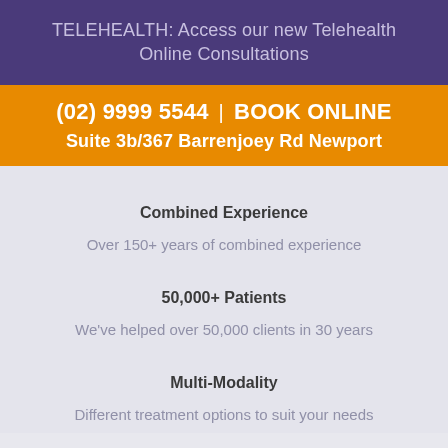TELEHEALTH: Access our new Telehealth Online Consultations
(02) 9999 5544  |  BOOK ONLINE
Suite 3b/367 Barrenjoey Rd Newport
Combined Experience
Over 150+ years of combined experience
50,000+ Patients
We've helped over 50,000 clients in 30 years
Multi-Modality
Different treatment options to suit your needs